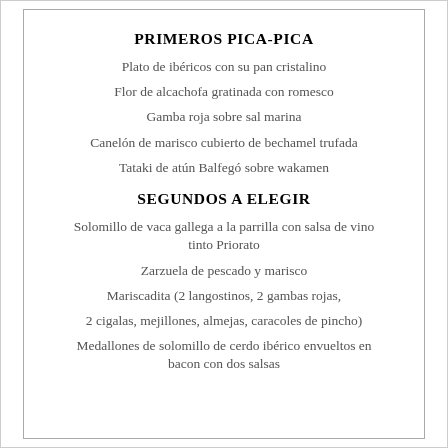PRIMEROS PICA-PICA
Plato de ibéricos con su pan cristalino
Flor de alcachofa gratinada con romesco
Gamba roja sobre sal marina
Canelón de marisco cubierto de bechamel trufada
Tataki de atún Balfegó sobre wakamen
SEGUNDOS A ELEGIR
Solomillo de vaca gallega a la parrilla con salsa de vino tinto Priorato
Zarzuela de pescado y marisco
Mariscadita (2 langostinos, 2 gambas rojas,
2 cigalas, mejillones, almejas, caracoles de pincho)
Medallones de solomillo de cerdo ibérico envueltos en bacon con dos salsas